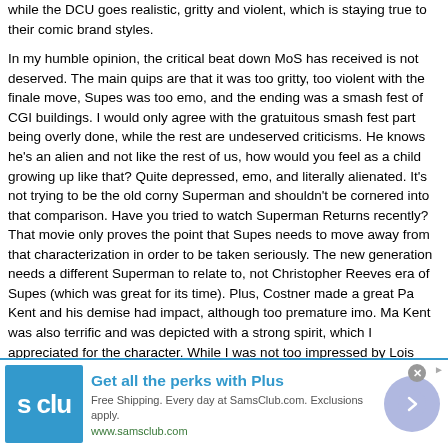while the DCU goes realistic, gritty and violent, which is staying true to their comic brand styles.
In my humble opinion, the critical beat down MoS has received is not deserved. The main quips are that it was too gritty, too violent with the finale move, Supes was too emo, and the ending was a smash fest of CGI buildings. I would only agree with the gratuitous smash fest part being overly done, while the rest are undeserved criticisms. He knows he's an alien and not like the rest of us, how would you feel as a child growing up like that? Quite depressed, emo, and literally alienated. It's not trying to be the old corny Superman and shouldn't be cornered into that comparison. Have you tried to watch Superman Returns recently? That movie only proves the point that Supes needs to move away from that characterization in order to be taken seriously. The new generation needs a different Superman to relate to, not Christopher Reeves era of Supes (which was great for its time). Plus, Costner made a great Pa Kent and his demise had impact, although too premature imo. Ma Kent was also terrific and was depicted with a strong spirit, which I appreciated for the character. While I was not too impressed by Lois and Perry. Last but not least, Caville makes for an excellent Supes
[Figure (infographic): Sam's Club advertisement banner. Blue logo with 's clu' text visible, headline 'Get all the perks with Plus', subtext 'Free Shipping. Every day at SamsClub.com. Exclusions apply.' URL www.samsclub.com, with a circular arrow button on the right.]